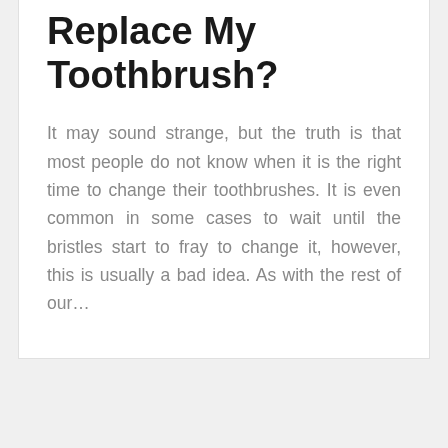How Often Should I Replace My Toothbrush?
It may sound strange, but the truth is that most people do not know when it is the right time to change their toothbrushes. It is even common in some cases to wait until the bristles start to fray to change it, however, this is usually a bad idea. As with the rest of our...